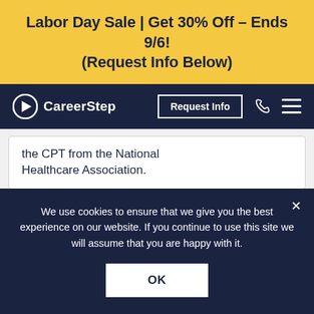Labor Day Sale | Get 30% Off – Ends 9/6! (Request Info Below)
[Figure (logo): CareerStep logo with arrow icon and brand name in white on dark navy navbar, with Request Info button, phone icon, and hamburger menu]
the CPT from the National Healthcare Association.
[Figure (other): Partial card with teal circle (loading/icon) at bottom of content area]
We use cookies to ensure that we give you the best experience on our website. If you continue to use this site we will assume that you are happy with it.
OK